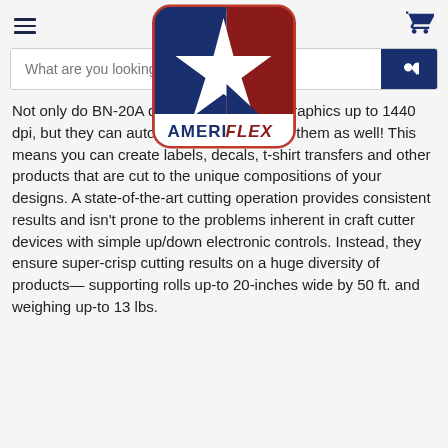[Figure (logo): AmeriFlex logo — a square with rounded corners and a red border containing a stylized star graphic in navy blue and dark red, with the text AMERIFLEX below the star]
Not only do BN-20A devices print quality graphics up to 1440 dpi, but they can automatically contour cut them as well! This means you can create labels, decals, t-shirt transfers and other products that are cut to the unique compositions of your designs. A state-of-the-art cutting operation provides consistent results and isn't prone to the problems inherent in craft cutter devices with simple up/down electronic controls. Instead, they ensure super-crisp cutting results on a huge diversity of products— supporting rolls up-to 20-inches wide by 50 ft. and weighing up-to 13 lbs.